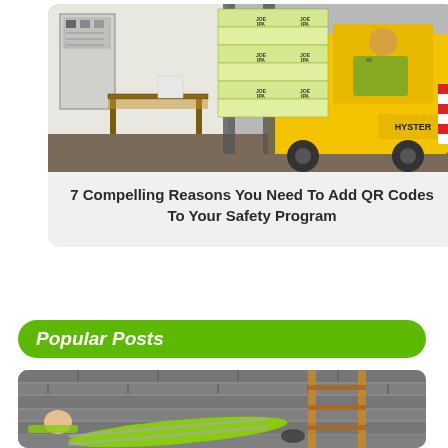[Figure (photo): A yellow Hyster forklift loaded with stacked boxes in a warehouse, operator in yellow safety vest visible in cab]
7 Compelling Reasons You Need To Add QR Codes To Your Safety Program
Popular Posts
[Figure (photo): Worker in yellow high-visibility vest lying on ground near wooden ladder, appears to have fallen]